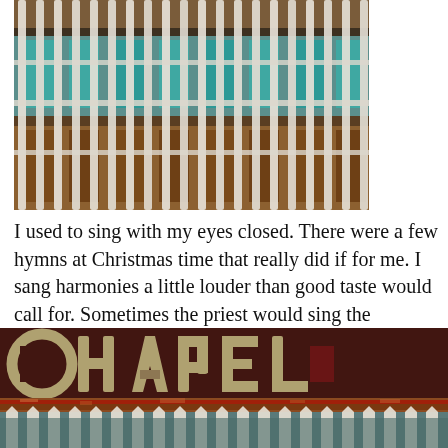[Figure (photo): Close-up photo of a decorative fence or grille with white metal bars, peeling paint, and colorful (teal, orange) detail visible behind the bars — architectural detail of a chapel or church facade.]
I used to sing with my eyes closed. There were a few hymns at Christmas time that really did if for me. I sang harmonies a little louder than good taste would call for. Sometimes the priest would sing the Eucharist, and I knew every melody. I'd sing along quietly to myself, just under my breath. I was the parishioner who showed up early to get a good seat. I [...]
[Figure (photo): Photograph of a weathered building sign reading 'CHAPEL' in large ornate letters on a dark maroon background, with peeling paint and a decorative white picket-style fence detail across the bottom.]